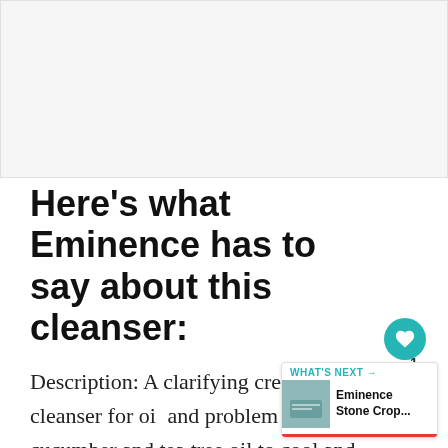[Figure (photo): Placeholder image area at top of article page, light gray background]
Here's what Eminence has to say about this cleanser:
Description: A clarifying cream-gel cleanser for oily and problem skin with cucumber and tea tree oil to cool and balance skin. Sweet almond milk to reduce the signs of acne and breakouts without